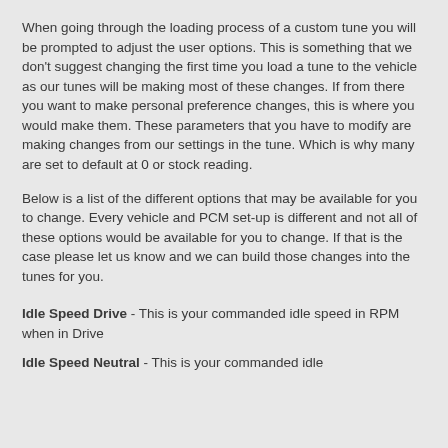When going through the loading process of a custom tune you will be prompted to adjust the user options.  This is something that we don't suggest changing the first time you load a tune to the vehicle as our tunes will be making most of these changes.  If from there you want to make personal preference changes, this is where you would make them.  These parameters that you have to modify are making changes from our settings in the tune.  Which is why many are set to default at 0 or stock reading.
Below is a list of the different options that may be available for you to change.  Every vehicle and PCM set-up is different and not all of these options would be available for you to change.  If that is the case please let us know and we can build those changes into the tunes for you.
Idle Speed Drive - This is your commanded idle speed in RPM when in Drive
Idle Speed Neutral - This is your commanded idle speed in RPM when in Neutral